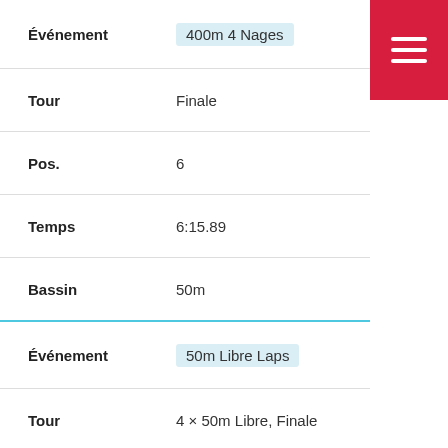| Field | Value |
| --- | --- |
| Événement | 400m 4 Nages |
| Tour | Finale |
| Pos. | 6 |
| Temps | 6:15.89 |
| Bassin | 50m |
| Événement | 50m Libre Laps |
| Tour | 4 × 50m Libre, Finale |
| Pos. | Relais |
| Temps | 32.06 |